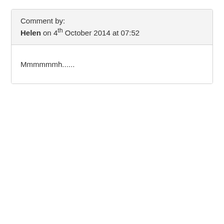Comment by:
Helen on 4th October 2014 at 07:52
Mmmmmmh......